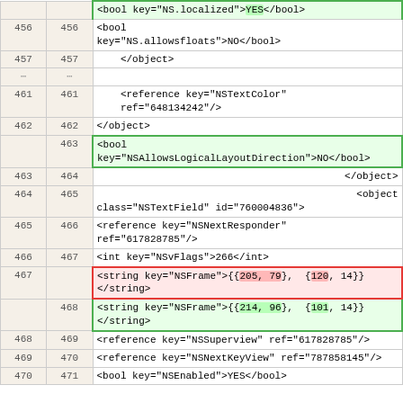| old | new | code |
| --- | --- | --- |
|  |  | <bool key="NS.localized">YES</bool> |
| 456 | 456 | <bool
key="NS.allowsfloats">NO</bool> |
| 457 | 457 | </object> |
| ... | ... |  |
| 461 | 461 | <reference key="NSTextColor"
ref="648134242"/> |
| 462 | 462 | </object> |
|  | 463 | <bool
key="NSAllowsLogicalLayoutDirection">NO</bool> |
| 463 | 464 | </object> |
| 464 | 465 | <object
class="NSTextField" id="760004836"> |
| 465 | 466 | <reference key="NSNextResponder"
ref="617828785"/> |
| 466 | 467 | <int key="NSvFlags">266</int> |
| 467 |  | <string key="NSFrame">{{205, 79}, {120, 14}}
</string> |
|  | 468 | <string key="NSFrame">{{214, 96}, {101, 14}}
</string> |
| 468 | 469 | <reference key="NSSuperview" ref="617828785"/> |
| 469 | 470 | <reference key="NSNextKeyView" ref="787858145"/> |
| 470 | 471 | <bool key="NSEnabled">YES</bool> |